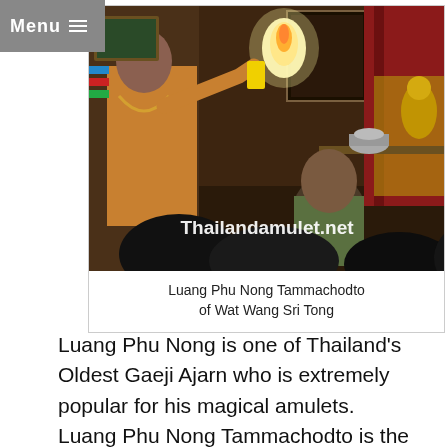Menu ☰
[Figure (photo): Indoor scene showing an elderly Thai monk or shaman in orange/yellow robes holding a flame or fire object, surrounded by people seated around him. Decorative items and shrines visible in background. Watermark reads Thailandamulet.net]
Luang Phu Nong Tammachodto of Wat Wang Sri Tong
Luang Phu Nong is one of Thailand's Oldest Gaeji Ajarn who is extremely popular for his magical amulets. Luang Phu Nong Tammachodto is the true nephew of Luang Por Ruam of Wat Nong Ratchanak...